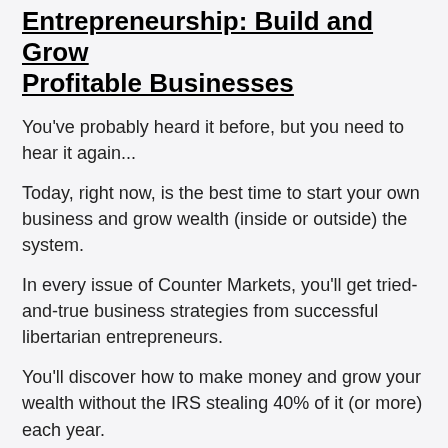Entrepreneurship: Build and Grow Profitable Businesses
You've probably heard it before, but you need to hear it again...
Today, right now, is the best time to start your own business and grow wealth (inside or outside) the system.
In every issue of Counter Markets, you'll get tried-and-true business strategies from successful libertarian entrepreneurs.
You'll discover how to make money and grow your wealth without the IRS stealing 40% of it (or more) each year.
You'll understand how to trade with alternative